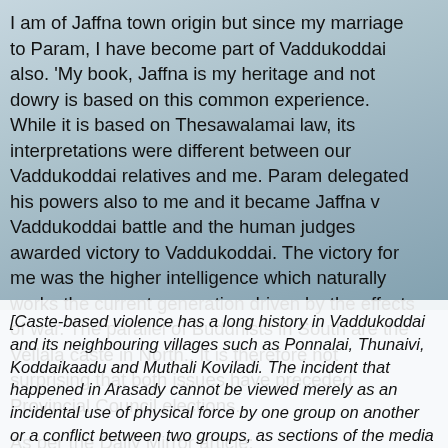I am of Jaffna town origin but since my marriage to Param, I have become part of Vaddukoddai also. 'My book, Jaffna is my heritage and not dowry is based on this common experience. While it is based on Thesawalamai law, its interpretations were different between our Vaddukoddai relatives and me. Param delegated his powers also to me and it became Jaffna v Vaddukoddai battle and the human judges awarded victory to Vaddukoddai. The victory for me was the higher intelligence which naturally works the current generation driven by the effects of war. The parallel of Buddhists in South are the Vellala caste in North.. It is therefore not surprising that both issues have preceded Provincial Council elections.

As per the Daily Mirror article:
[Caste-based violence has a long history in Vaddukoddai and its neighbouring villages such as Ponnalai, Thunaivi, Koddaikaadu and Muthali Koviladi. The incident that happened in Arasady cannot be viewed merely as an incidental use of physical force by one group on another or a conflict between two groups, as sections of the media try to portray it; it is a violent manifestation